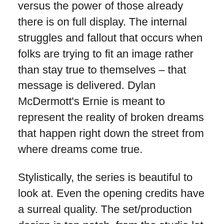versus the power of those already there is on full display. The internal struggles and fallout that occurs when folks are trying to fit an image rather than stay true to themselves – that message is delivered. Dylan McDermott's Ernie is meant to represent the reality of broken dreams that happen right down the street from where dreams come true.
Stylistically, the series is beautiful to look at. Even the opening credits have a surreal quality. The set/production design is top notch, from the studio lot to the sound stages to the small apartments decorated to the era … and the cars are spectacular. Black and White images are used sparingly, but effectively to stay true to his period in cinema, and the music/soundtrack is perfectly used and could be a top seller as a standalone. Watching the great Patti Lupone is reward enough, but seeing Dylan